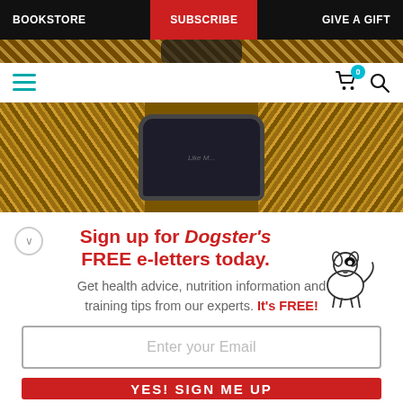BOOKSTORE | SUBSCRIBE | GIVE A GIFT
[Figure (screenshot): Website navigation bar with BOOKSTORE, SUBSCRIBE (highlighted red), GIVE A GIFT links]
[Figure (photo): Partial hero image showing popcorn and chalkboard sign]
Sign up for Dogster's FREE e-letters today.
Get health advice, nutrition information and training tips from our experts. It's FREE!
Enter your Email
YES! SIGN ME UP